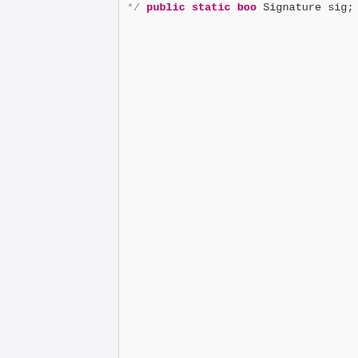[Figure (screenshot): Source code screenshot showing Java method with try-catch blocks. Right panel shows code: comment end '*/', 'public static boo' (truncated), 'Signature sig;', 'try {', 'sig = Sign' (truncated), 'sig.initVe' (truncated), 'sig.update' (truncated), 'if (!sig.V' (truncated), 'Log.e(' (truncated), 'return' (truncated), '}', 'return tru' (truncated), '} catch (NoSuc' (truncated), 'Log.e(TAG,' (truncated), '} catch (Inval' (truncated), 'Log.e(TAG,' (truncated), '} catch (Signa' (truncated), 'Log.e(TAG,' (truncated), '} catch (BaseE' (truncated), 'Log.e(TAG,' (truncated), '}', 'return false;', '}', '}'. Left panel is blank/white.]